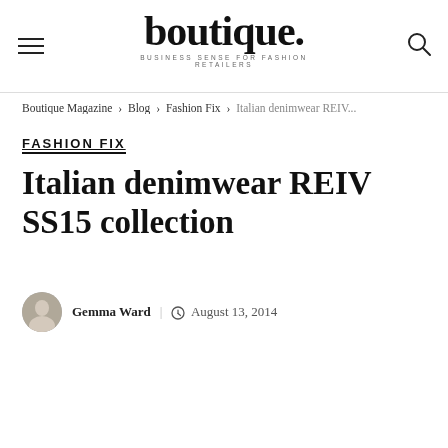boutique. BUSINESS SENSE FOR FASHION RETAILERS
Boutique Magazine > Blog > Fashion Fix > Italian denimwear REIV...
FASHION FIX
Italian denimwear REIV SS15 collection
Gemma Ward | August 13, 2014